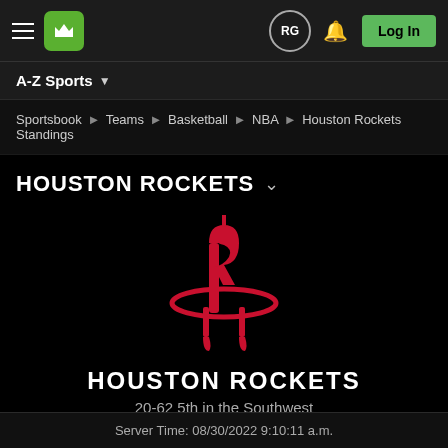DraftKings navigation bar with hamburger menu, DK logo, RG avatar, bell icon, Log In button
A-Z Sports
Sportsbook › Teams › Basketball › NBA › Houston Rockets Standings
HOUSTON ROCKETS
[Figure (logo): Houston Rockets NBA logo: stylized R with red rocket and orbit ellipse on black background]
HOUSTON ROCKETS
20-62 5th in the Southwest
Server Time: 08/30/2022 9:10:11 a.m.